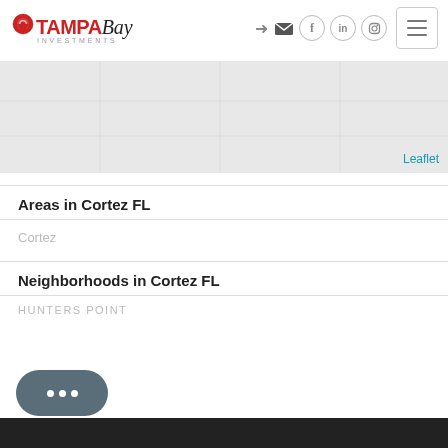[Figure (logo): Tampa Bay Investments logo with red map pin icon and stylized text]
[Figure (map): Leaflet map showing Cortez FL area in light gray]
Areas in Cortez FL
Cortez
Neighborhoods in Cortez FL
HUNTERS POINT